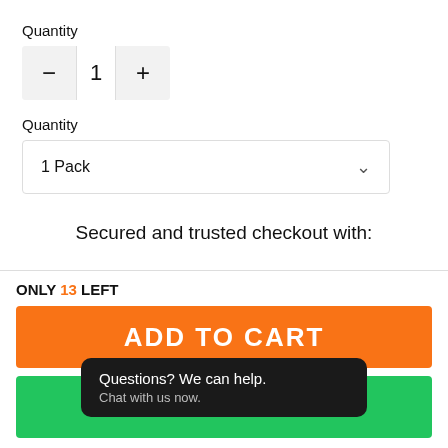Quantity
[Figure (screenshot): Quantity stepper with minus button, number 1, and plus button]
Quantity
[Figure (screenshot): Dropdown selector showing '1 Pack' with chevron]
Secured and trusted checkout with:
ONLY 13 LEFT
ADD TO CART
Questions? We can help. Chat with us now.